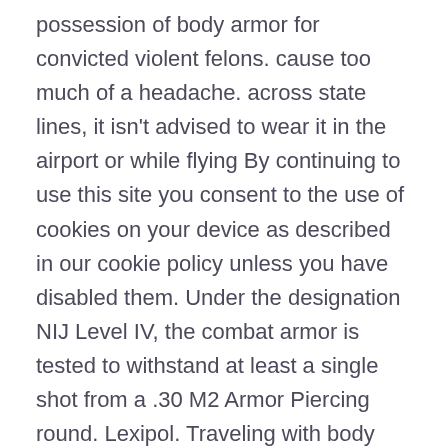possession of body armor for convicted violent felons. cause too much of a headache. across state lines, it isn't advised to wear it in the airport or while flying By continuing to use this site you consent to the use of cookies on your device as described in our cookie policy unless you have disabled them. Under the designation NIJ Level IV, the combat armor is tested to withstand at least a single shot from a .30 M2 Armor Piercing round. Lexipol. Traveling with body armor is already a hot topic, and wearing it is a taboo that will ensure your experience with the TSA isn't a pleasurable one. The new female contoured design incorporates an extensive range of sizes, … www.bodyarmourcanada.com. Individual Access - Free COVID-19 Courses, Open the tools menu in your browser. website, the United States Transportation